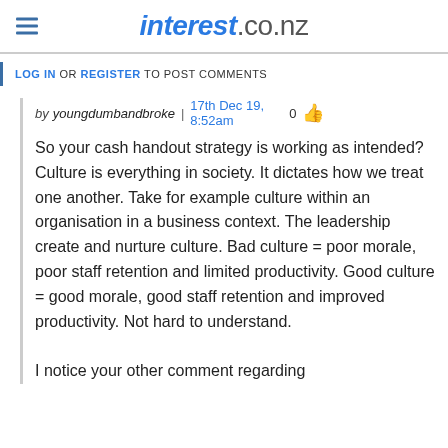interest.co.nz
LOG IN OR REGISTER TO POST COMMENTS
by youngdumbandbroke | 17th Dec 19, 8:52am  0
So your cash handout strategy is working as intended? Culture is everything in society. It dictates how we treat one another. Take for example culture within an organisation in a business context. The leadership create and nurture culture. Bad culture = poor morale, poor staff retention and limited productivity. Good culture = good morale, good staff retention and improved productivity. Not hard to understand.

I notice your other comment regarding